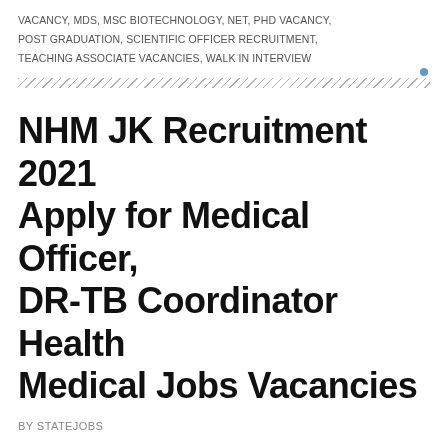VACANCY, MDS, MSC BIOTECHNOLOGY, NET, PHD VACANCY, POST GRADUATION, SCIENTIFIC OFFICER RECRUITMENT, TEACHING ASSOCIATE VACANCIES, WALK IN INTERVIEW
NHM JK Recruitment 2021 Apply for Medical Officer, DR-TB Coordinator Health Medical Jobs Vacancies
BY STATEJOBS
16 COMMENTS
EMPLOYMENT NEWS LATEST UPDATED ON DECEMBER 16, 2021
EMPLOYMENT PUBLISHED ON DECEMBER 16, 2021
NHM JK Recruitment 2021: Read Employment News